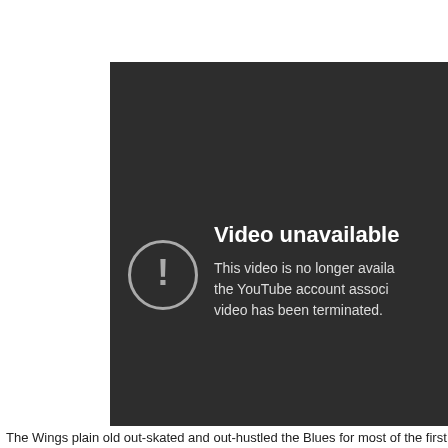[Figure (screenshot): YouTube 'Video unavailable' error screen on a dark gray background. Shows a circle with exclamation mark icon and text: 'Video unavailable — This video is no longer available because the YouTube account associated with this video has been terminated.']
The Wings plain old out-skated and out-hustled the Blues for most of the first half o